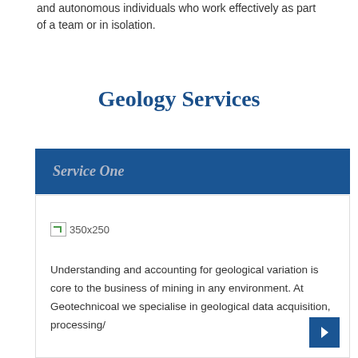and autonomous individuals who work effectively as part of a team or in isolation.
Geology Services
Service One
[Figure (other): Placeholder image 350x250 with broken image icon]
Understanding and accounting for geological variation is core to the business of mining in any environment. At Geotechnicoal we specialise in geological data acquisition, processing/